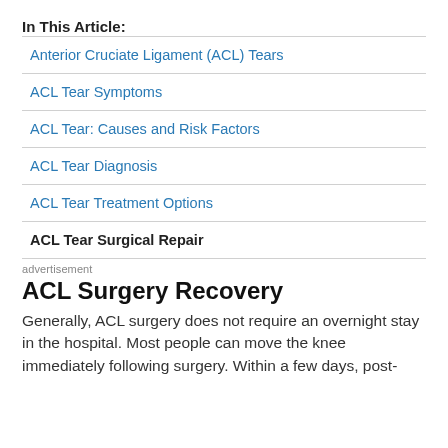In This Article:
Anterior Cruciate Ligament (ACL) Tears
ACL Tear Symptoms
ACL Tear: Causes and Risk Factors
ACL Tear Diagnosis
ACL Tear Treatment Options
ACL Tear Surgical Repair
advertisement
ACL Surgery Recovery
Generally, ACL surgery does not require an overnight stay in the hospital. Most people can move the knee immediately following surgery. Within a few days, post-